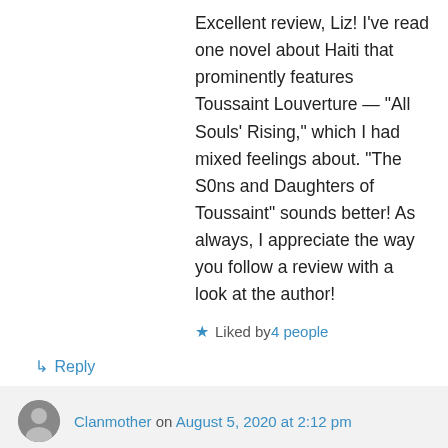Excellent review, Liz! I've read one novel about Haiti that prominently features Toussaint Louverture — “All Souls’ Rising,” which I had mixed feelings about. “The S0ns and Daughters of Toussaint” sounds better! As always, I appreciate the way you follow a review with a look at the author!
★ Liked by 4 people
↳ Reply
Clanmother on August 5, 2020 at 2:12 pm
I agree with Dave. Knowing the background of an author adds to my understanding.
★ Liked by 2 people